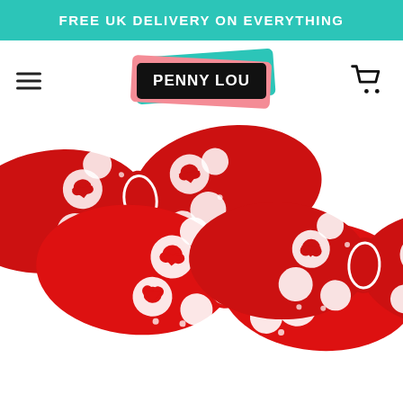FREE UK DELIVERY ON EVERYTHING
[Figure (logo): Penny Lou brand logo with teal and pink background strips and black foreground box with white text]
[Figure (photo): Three red and white heart-patterned fabric bow ties arranged overlapping on a white background]